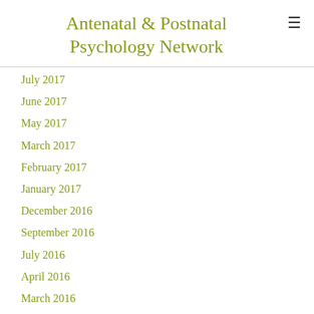Antenatal & Postnatal Psychology Network
July 2017
June 2017
May 2017
March 2017
February 2017
January 2017
December 2016
September 2016
July 2016
April 2016
March 2016
February 2016
November 2015
September 2015
May 2015